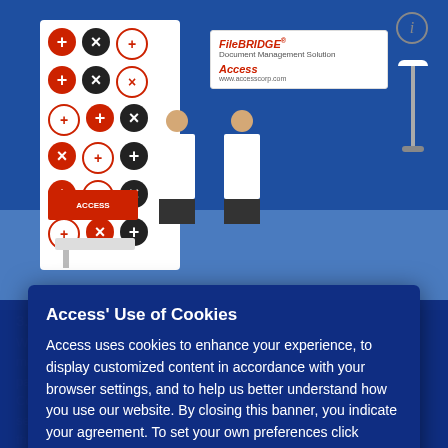[Figure (photo): Trade show booth photo showing two people in white shirts standing at an Access/FileBridge exhibit booth with branded banners featuring plus/cross circle patterns, a FileBridge sign and Access logo, and a small table with sign in the foreground.]
Access' Use of Cookies
Access uses cookies to enhance your experience, to display customized content in accordance with your browser settings, and to help us better understand how you use our website. By closing this banner, you indicate your agreement. To set your own preferences click "Show details" and to learn more about the cookies we use see our Terms of Use & Privacy Policy.